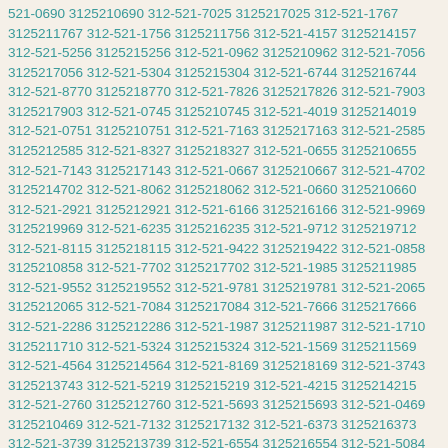521-0690 3125210690 312-521-7025 3125217025 312-521-1767 3125211767 312-521-1756 3125211756 312-521-4157 3125214157 312-521-5256 3125215256 312-521-0962 3125210962 312-521-7056 3125217056 312-521-5304 3125215304 312-521-6744 3125216744 312-521-8770 3125218770 312-521-7826 3125217826 312-521-7903 3125217903 312-521-0745 3125210745 312-521-4019 3125214019 312-521-0751 3125210751 312-521-7163 3125217163 312-521-2585 3125212585 312-521-8327 3125218327 312-521-0655 3125210655 312-521-7143 3125217143 312-521-0667 3125210667 312-521-4702 3125214702 312-521-8062 3125218062 312-521-0660 3125210660 312-521-2921 3125212921 312-521-6166 3125216166 312-521-9969 3125219969 312-521-6235 3125216235 312-521-9712 3125219712 312-521-8115 3125218115 312-521-9422 3125219422 312-521-0858 3125210858 312-521-7702 3125217702 312-521-1985 3125211985 312-521-9552 3125219552 312-521-9781 3125219781 312-521-2065 3125212065 312-521-7084 3125217084 312-521-7666 3125217666 312-521-2286 3125212286 312-521-1987 3125211987 312-521-1710 3125211710 312-521-5324 3125215324 312-521-1569 3125211569 312-521-4564 3125214564 312-521-8169 3125218169 312-521-3743 3125213743 312-521-5219 3125215219 312-521-4215 3125214215 312-521-2760 3125212760 312-521-5693 3125215693 312-521-0469 3125210469 312-521-7132 3125217132 312-521-6373 3125216373 312-521-3739 3125213739 312-521-6554 3125216554 312-521-5084 3125215084 312-521-7303 3125217303 312-521-4617 3125214617 312-521-7086 3125217086 312-521-7870 3125217870 312-521-1689 3125211689 312-521-7474 3125217474 312-521-2563 3125212563 312-